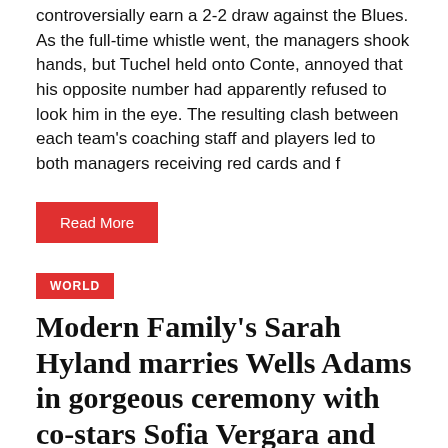controversially earn a 2-2 draw against the Blues. As the full-time whistle went, the managers shook hands, but Tuchel held onto Conte, annoyed that his opposite number had apparently refused to look him in the eye. The resulting clash between each team's coaching staff and players led to both managers receiving red cards and f
Read More
WORLD
Modern Family's Sarah Hyland marries Wells Adams in gorgeous ceremony with co-stars Sofia Vergara and Jesse Tyler Ferguson in tow
Usanewsposts   August 21, 2022   0
Sarah Hyland tied the knot with Wells Adams (Picture: